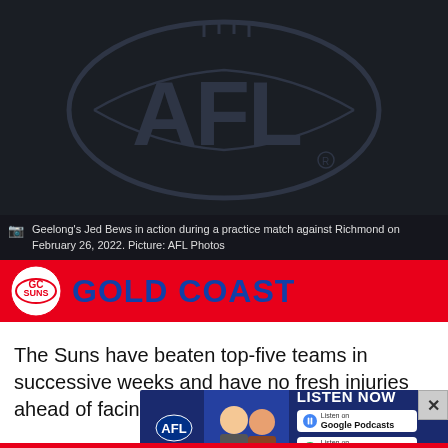[Figure (photo): AFL logo on dark background, dark blue/charcoal tones]
Geelong's Jed Bews in action during a practice match against Richmond on February 26, 2022. Picture: AFL Photos
[Figure (logo): Gold Coast Suns logo and GOLD COAST text banner on red background]
The Suns have beaten top-five teams in successive weeks and have no fresh injuries ahead of facing the Western Bulldogs in
[Figure (screenshot): AFL Daily podcast advertisement banner with LISTEN NOW prompt and podcast platform buttons]